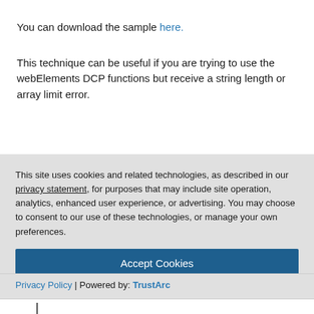You can download the sample here.
This technique can be useful if you are trying to use the webElements DCP functions but receive a string length or array limit error.
This site uses cookies and related technologies, as described in our privacy statement, for purposes that may include site operation, analytics, enhanced user experience, or advertising. You may choose to consent to our use of these technologies, or manage your own preferences.
Accept Cookies
More Information
Privacy Policy | Powered by: TrustArc